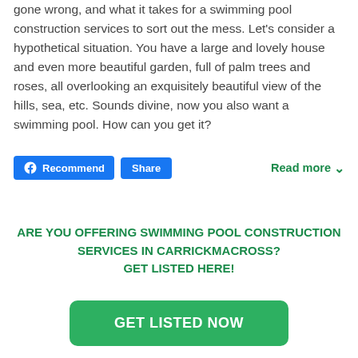gone wrong, and what it takes for a swimming pool construction services to sort out the mess. Let's consider a hypothetical situation. You have a large and lovely house and even more beautiful garden, full of palm trees and roses, all overlooking an exquisitely beautiful view of the hills, sea, etc. Sounds divine, now you also want a swimming pool. How can you get it?
Recommend  Share  Read more ∨
ARE YOU OFFERING SWIMMING POOL CONSTRUCTION SERVICES IN CARRICKMACROSS? GET LISTED HERE!
GET LISTED NOW